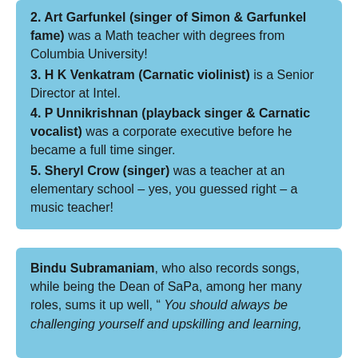2. Art Garfunkel (singer of Simon & Garfunkel fame) was a Math teacher with degrees from Columbia University!
3. H K Venkatram (Carnatic violinist) is a Senior Director at Intel.
4. P Unnikrishnan (playback singer & Carnatic vocalist) was a corporate executive before he became a full time singer.
5. Sheryl Crow (singer) was a teacher at an elementary school – yes, you guessed right – a music teacher!
Bindu Subramaniam, who also records songs, while being the Dean of SaPa, among her many roles, sums it up well, " You should always be challenging yourself and upskilling and learning,